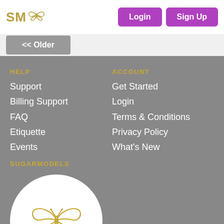SM 🦋 Login Sign Up
<< Older
HELP
Support
Billing Support
FAQ
Etiquette
Events
ACCOUNT
Get Started
Login
Terms & Conditions
Privacy Policy
What's New
SUGARMODELS
[Figure (logo): SugarModels butterfly logo in gold outline on white circle]